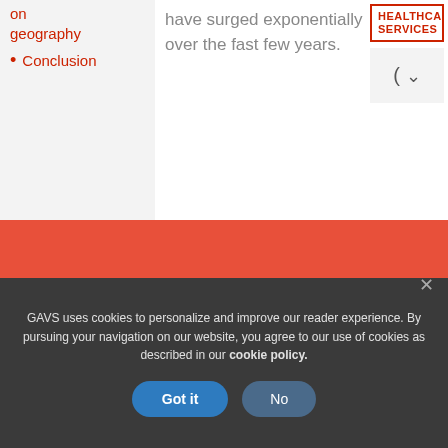on geography
Conclusion
have surged exponentially over the fast few years.
[Figure (screenshot): Healthcare Services label box with red border and dropdown selector]
[Figure (photo): Three thumbnail images showing: hand with blue globe/eye, white medical device, purple light beams]
GAVS uses cookies to personalize and improve our reader experience. By pursuing your navigation on our website, you agree to our use of cookies as described in our cookie policy.